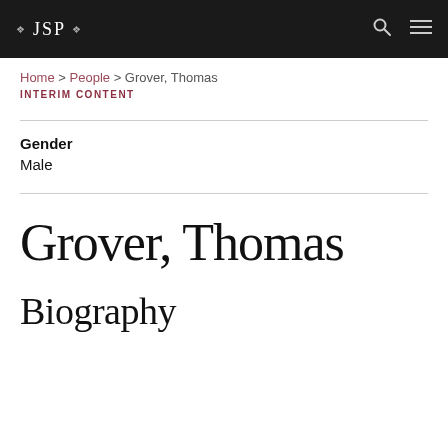JSP
Home > People > Grover, Thomas
INTERIM CONTENT
Gender
Male
Grover, Thomas
Biography